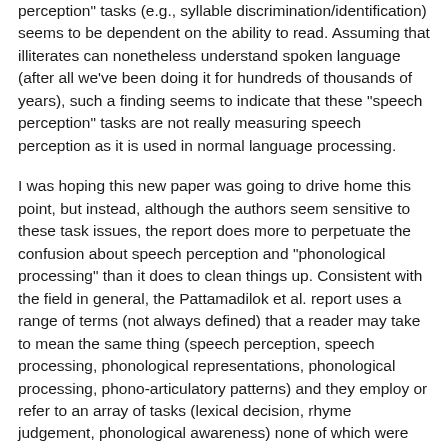perception" tasks (e.g., syllable discrimination/identification) seems to be dependent on the ability to read. Assuming that illiterates can nonetheless understand spoken language (after all we've been doing it for hundreds of thousands of years), such a finding seems to indicate that these "speech perception" tasks are not really measuring speech perception as it is used in normal language processing.
I was hoping this new paper was going to drive home this point, but instead, although the authors seem sensitive to these task issues, the report does more to perpetuate the confusion about speech perception and "phonological processing" than it does to clean things up. Consistent with the field in general, the Pattamadilok et al. report uses a range of terms (not always defined) that a reader may take to mean the same thing (speech perception, speech processing, phonological representations, phonological processing, phono-articulatory patterns) and they employ or refer to an array of tasks (lexical decision, rhyme judgement, phonological awareness) none of which were probably ever performed when the human speech perception system was evolving.